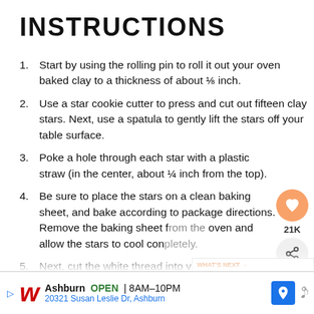INSTRUCTIONS
Start by using the rolling pin to roll it out your oven baked clay to a thickness of about ⅛ inch.
Use a star cookie cutter to press and cut out fifteen clay stars. Next, use a spatula to gently lift the stars off your table surface.
Poke a hole through each star with a plastic straw (in the center, about ¼ inch from the top).
Be sure to place the stars on a clean baking sheet, and bake according to package directions. Remove the baking sheet from the oven and allow the stars to cool completely.
Next, cut the white thread into various lengths …piece